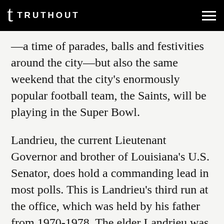TRUTHOUT
—a time of parades, balls and festivities around the city—but also the same weekend that the city's enormously popular football team, the Saints, will be playing in the Super Bowl.
Landrieu, the current Lieutenant Governor and brother of Louisiana's U.S. Senator, does hold a commanding lead in most polls. This is Landrieu's third run at the office, which was held by his father from 1970-1978. The elder Landrieu was the last white mayor of New Orleans and is credited with integrating city hall